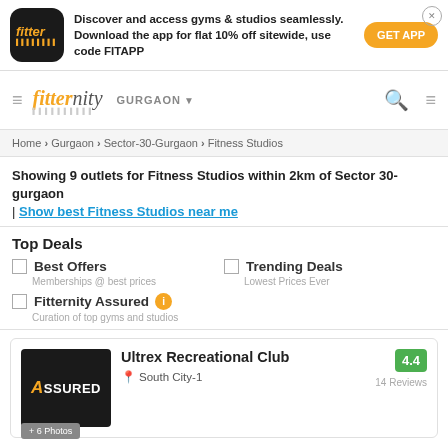[Figure (infographic): Fitter app advertisement banner with logo, promotional text and GET APP button]
[Figure (logo): Fitternity navigation bar with hamburger menu, logo, GURGAON city selector, search and filter icons]
Home › Gurgaon › Sector-30-Gurgaon › Fitness Studios
Showing 9 outlets for Fitness Studios within 2km of Sector 30-gurgaon | Show best Fitness Studios near me
Top Deals
Best Offers - Memberships @ best prices
Trending Deals - Lowest Prices Ever
Fitternity Assured - Curation of top gyms and studios
[Figure (infographic): Ultrex Recreational Club listing card with ASSURED badge, location South City-1, rating 4.4, 14 Reviews, +6 Photos]